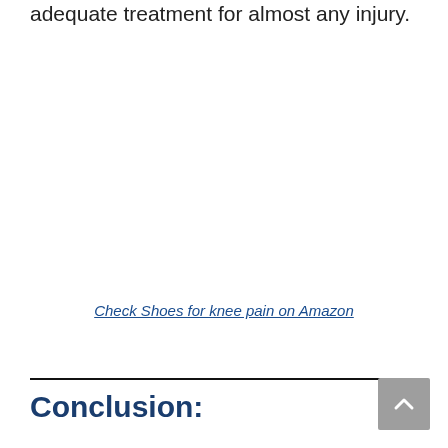adequate treatment for almost any injury.
Check Shoes for knee pain on Amazon
Conclusion: